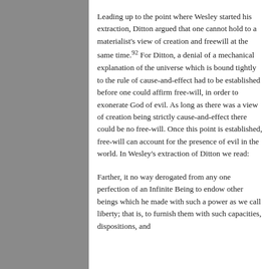Leading up to the point where Wesley started his extraction, Ditton argued that one cannot hold to a materialist's view of creation and freewill at the same time.92 For Ditton, a denial of a mechanical explanation of the universe which is bound tightly to the rule of cause-and-effect had to be established before one could affirm free-will, in order to exonerate God of evil. As long as there was a view of creation being strictly cause-and-effect there could be no free-will. Once this point is established, free-will can account for the presence of evil in the world. In Wesley's extraction of Ditton we read:
Farther, it no way derogated from any one perfection of an Infinite Being to endow other beings which he made with such a power as we call liberty; that is, to furnish them with such capacities, dispositions, and